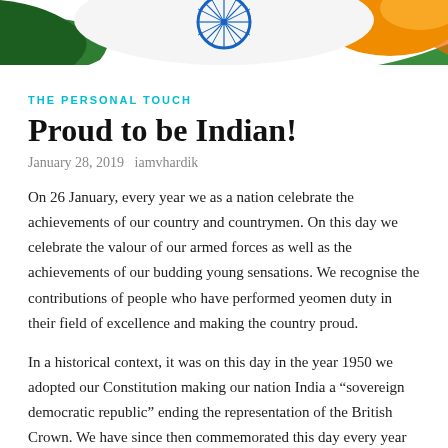[Figure (illustration): Indian flag themed decorative header image with Ashoka Chakra (blue wheel), saffron, white, and green colors with stylized flag wave design]
THE PERSONAL TOUCH
Proud to be Indian!
January 28, 2019   iamvhardik
On 26 January, every year we as a nation celebrate the achievements of our country and countrymen. On this day we celebrate the valour of our armed forces as well as the achievements of our budding young sensations. We recognise the contributions of people who have performed yeomen duty in their field of excellence and making the country proud.
In a historical context, it was on this day in the year 1950 we adopted our Constitution making our nation India a “sovereign democratic republic” ending the representation of the British Crown. We have since then commemorated this day every year as the ‘Republic Day’.